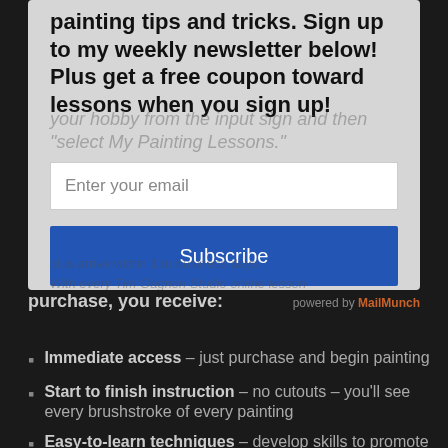painting tips and tricks. Sign up to my weekly newsletter below! Plus get a free coupon toward lessons when you sign up!
Enter your email
Subscribe
powered by MailMunch
With every Tim Gagnon Studio online lesson purchase, you receive:
Immediate access – just purchase and begin painting
Start to finish instruction – no cutouts – you'll see every brushstroke of every painting
Easy-to-learn techniques – develop skills to promote consistency in your style for a more professional look
Unlimited viewing, no expiration – view the lesson as many times as you'd like, whenever you'd like